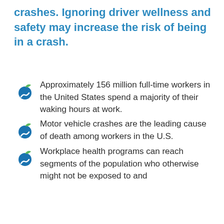crashes. Ignoring driver wellness and safety may increase the risk of being in a crash.
Approximately 156 million full-time workers in the United States spend a majority of their waking hours at work. Motor vehicle crashes are the leading cause of death among workers in the U.S.
Workplace health programs can reach segments of the population who otherwise might not be exposed to and